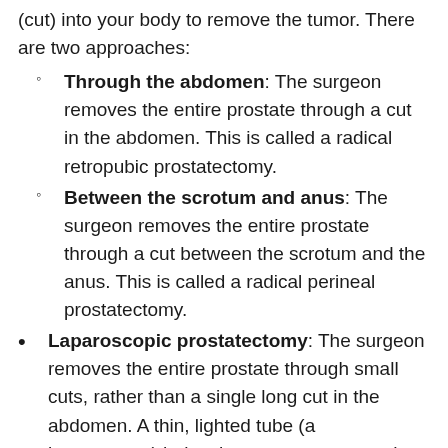(cut) into your body to remove the tumor. There are two approaches:
Through the abdomen: The surgeon removes the entire prostate through a cut in the abdomen. This is called a radical retropubic prostatectomy.
Between the scrotum and anus: The surgeon removes the entire prostate through a cut between the scrotum and the anus. This is called a radical perineal prostatectomy.
Laparoscopic prostatectomy: The surgeon removes the entire prostate through small cuts, rather than a single long cut in the abdomen. A thin, lighted tube (a laparoscope) helps the surgeon remove the prostate.
Robotic laparoscopic surgery: The surgeon removes the entire prostate through small cuts. A laparoscope and a robot are used to help remove